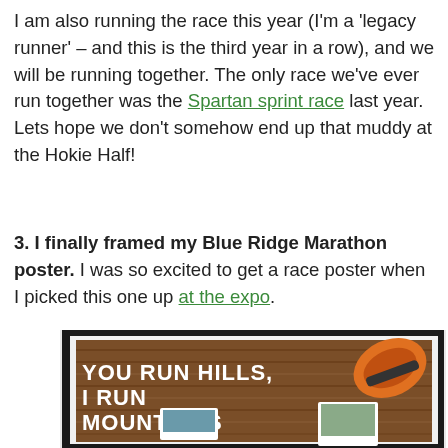I am also running the race this year (I'm a 'legacy runner' – and this is the third year in a row), and we will be running together. The only race we've ever run together was the Spartan sprint race last year. Lets hope we don't somehow end up that muddy at the Hokie Half!
3. I finally framed my Blue Ridge Marathon poster. I was so excited to get a race poster when I picked this one up at the expo.
[Figure (photo): A framed Blue Ridge Marathon poster showing text 'YOU RUN HILLS, I RUN MOUNTAINS' on a wooden background with a running shoe and polaroid-style race photos.]